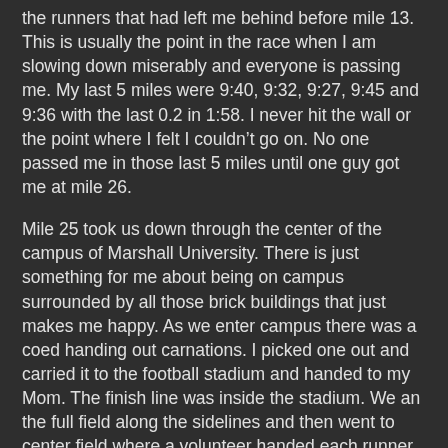the runners that had left me behind before mile 13. This is usually the point in the race when I am slowing down miserably and everyone is passing me. My last 5 miles were 9:40, 9:32, 9:27, 9:45 and 9:36 with the last 0.2 in 1:58. I never hit the wall or the point where I felt I couldn't go on. No one passed me in those last 5 miles until one guy got me at mile 26.
Mile 25 took us down through the center of the campus of Marshall University. There is just something for me about being on campus surrounded by all those brick buildings that just makes me happy. As we enter campus there was a coed handing out carnations. I picked one out and carried it to the football stadium and handed to my Mom. The finish line was inside the stadium. We an the full field along the sidelines and then went to center field where a volunteer handed each runner a football to carry the 100 yards to the finish line at the opposite end.
After having expected disaster, the Marshall University Marathon was very satisfying. We ran along the Ohio River (too short), through Ritter Park (twice) and the beautiful